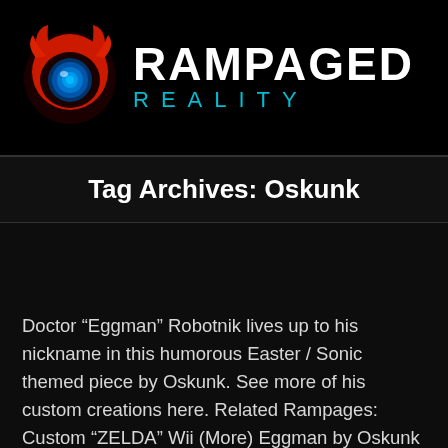[Figure (logo): Rampaged Reality logo: red devil/monster character with blue eye on left, bold white text RAMPAGED above cyan spaced text REALITY on right]
Tag Archives: Oskunk
Doctor “Eggman” Robotnik lives up to his nickname in this humorous Easter / Sonic themed piece by Oskunk. See more of his custom creations here. Related Rampages: Custom “ZELDA” Wii (More) Eggman by Oskunk (Flickr)